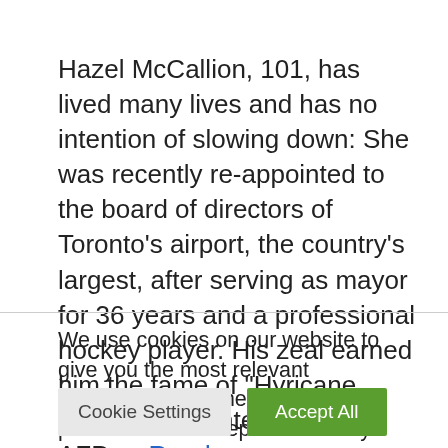Hazel McCallion, 101, has lived many lives and has no intention of slowing down: She was recently re-appointed to the board of directors of Toronto's airport, the country's largest, after serving as mayor for 36 years and a professional hockey player. His zeal earned him the fame of "Hyricane Hazel". In an interview with AFP ... Read more
We use cookies on our website to give you the most relevant experience by remembering your preferences and repeat visits. By clicking "Accept All", you consent to the use of ALL the cookies. However, you may visit "Cookie Settings" to provide a controlled consent.